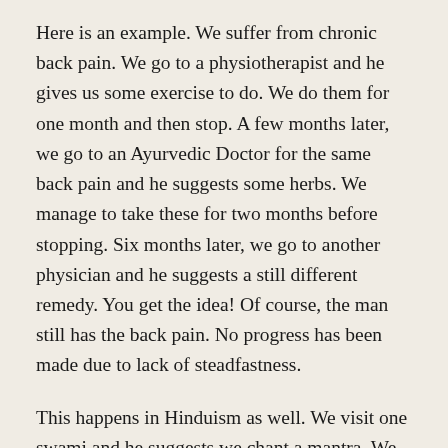Here is an example. We suffer from chronic back pain. We go to a physiotherapist and he gives us some exercise to do. We do them for one month and then stop. A few months later, we go to an Ayurvedic Doctor for the same back pain and he suggests some herbs. We manage to take these for two months before stopping. Six months later, we go to another physician and he suggests a still different remedy. You get the idea! Of course, the man still has the back pain. No progress has been made due to lack of steadfastness.
This happens in Hinduism as well. We visit one swami and he suggests we chant a mantra. We do this for a few months and stop. We visit another swami, a year later and he suggests meditating on the inner light. We do this for a while and stop. This, of course, produces no tangible progress in our spiritual life due to lack of perseverance.